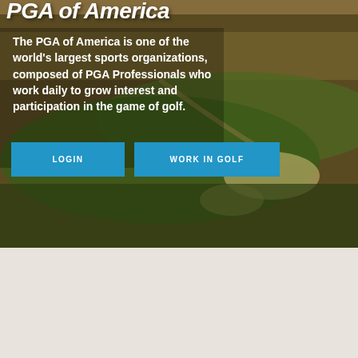PGA of America
The PGA of America is one of the world's largest sports organizations, composed of PGA Professionals who work daily to grow interest and participation in the game of golf.
[Figure (photo): Aerial view of a golf course with green fairways, sand traps, and natural landscape]
[Figure (photo): Golfer swinging a club on a golf course]